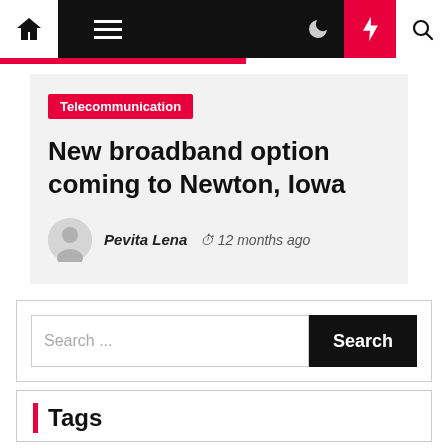Navigation bar with home, menu, dark mode, lightning (breaking news), and search icons
Telecommunication
New broadband option coming to Newton, Iowa
Pevita Lena  12 months ago
Search ...
Tags